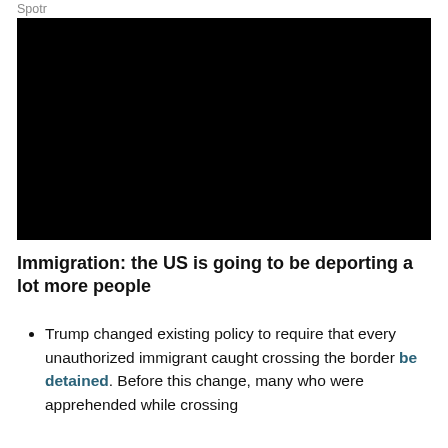Spotr
[Figure (photo): Black/dark image placeholder, likely a video thumbnail or photograph related to immigration and border policy]
Immigration: the US is going to be deporting a lot more people
Trump changed existing policy to require that every unauthorized immigrant caught crossing the border be detained. Before this change, many who were apprehended while crossing